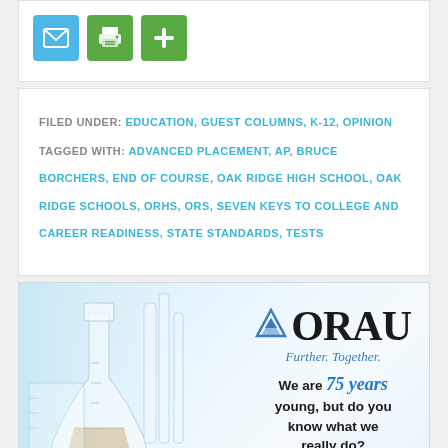[Figure (infographic): Three social sharing icons: email (blue envelope), print (green printer), share (green plus sign)]
FILED UNDER: EDUCATION, GUEST COLUMNS, K-12, OPINION
TAGGED WITH: ADVANCED PLACEMENT, AP, BRUCE BORCHERS, END OF COURSE, OAK RIDGE HIGH SCHOOL, OAK RIDGE SCHOOLS, ORHS, ORS, SEVEN KEYS TO COLLEGE AND CAREER READINESS, STATE STANDARDS, TESTS
[Figure (logo): ORAU advertisement with logo and tagline 'Further. Together.' and text 'We are 75 years young, but do you know what we really do?' with laboratory glassware background]